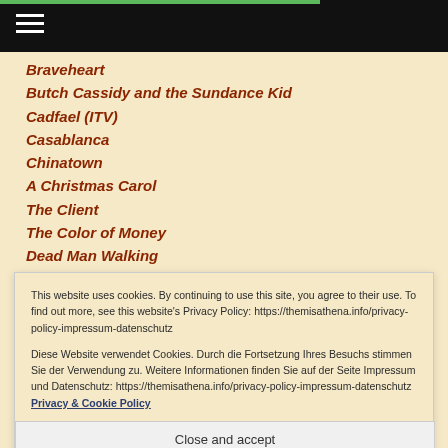Navigation bar with hamburger menu
Braveheart
Butch Cassidy and the Sundance Kid
Cadfael (ITV)
Casablanca
Chinatown
A Christmas Carol
The Client
The Color of Money
Dead Man Walking
This website uses cookies. By continuing to use this site, you agree to their use. To find out more, see this website's Privacy Policy: https://themisathena.info/privacy-policy-impressum-datenschutz

Diese Website verwendet Cookies. Durch die Fortsetzung Ihres Besuchs stimmen Sie der Verwendung zu. Weitere Informationen finden Sie auf der Seite Impressum und Datenschutz: https://themisathena.info/privacy-policy-impressum-datenschutz Privacy & Cookie Policy
Close and accept
Blues Rock